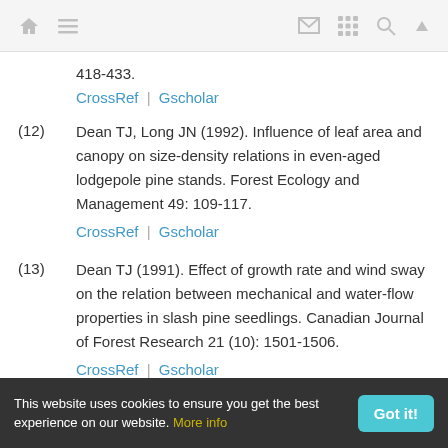navigation icons
418-433.
CrossRef | Gscholar
(12) Dean TJ, Long JN (1992). Influence of leaf area and canopy on size-density relations in even-aged lodgepole pine stands. Forest Ecology and Management 49: 109-117.
CrossRef | Gscholar
(13) Dean TJ (1991). Effect of growth rate and wind sway on the relation between mechanical and water-flow properties in slash pine seedlings. Canadian Journal of Forest Research 21 (10): 1501-1506.
CrossRef | Gscholar
This website uses cookies to ensure you get the best experience on our website. More info